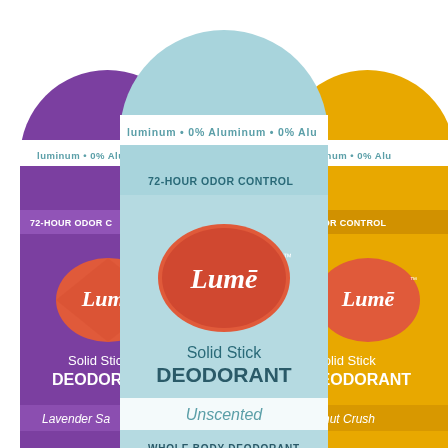[Figure (photo): Three Lume Solid Stick Deodorant products photographed together. Center: light blue stick labeled 'Unscented'. Left: purple stick labeled 'Lavender Sage'. Right: yellow/gold stick labeled 'Coconut Crush'. Each stick shows '0% Aluminum' band near top, '72-HOUR ODOR CONTROL' label, Lume logo in coral/red diamond shape, 'Solid Stick DEODORANT' text, 'WHOLE BODY DEODORANT - Pits · Feet · Privates', and '2.6 oz (75g) NET WT'. White background.]